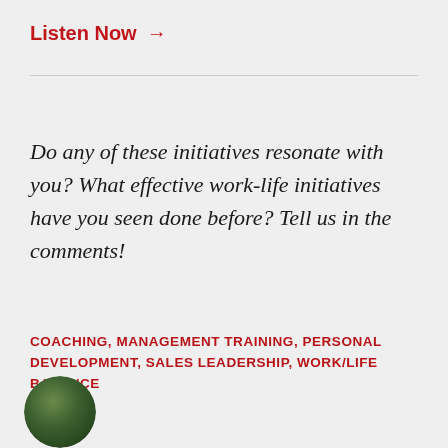Listen Now →
Do any of these initiatives resonate with you? What effective work-life initiatives have you seen done before? Tell us in the comments!
COACHING, MANAGEMENT TRAINING, PERSONAL DEVELOPMENT, SALES LEADERSHIP, WORK/LIFE BALANCE
[Figure (photo): Circular avatar photo of a person, partially visible at the bottom left of the page]